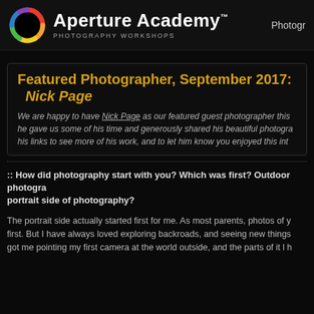Aperture Academy™ PHOTOGRAPHY WORKSHOPS | Photogr
Featured Photographer, September 2017:   Nick Page
We are happy to have Nick Page as our featured guest photographer this he gave us some of his time and generously shared his beautiful photogra his links to see more of his work, and to let him know you enjoyed this int
:: How did photography start with you? Which was first? Outdoor photogra portrait side of photography?
The portrait side actually started first for me. As most parents, photos of y first. But I have always loved exploring backroads, and seeing new things got me pointing my first camera at the world outside, and the parts of it l h